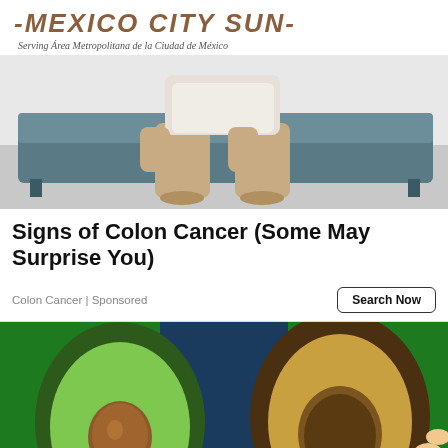MEXICO CITY SUN — Serving Área Metropolitana de la Ciudad de México
[Figure (photo): Person in khaki pants sitting on edge of a dark teal/grey upholstered bench or couch, viewed from waist down]
Signs of Colon Cancer (Some May Surprise You)
Colon Cancer | Sponsored
[Figure (photo): Two halves of an avocado being held up, one showing the green flesh and seed, the other showing a browning interior with a red arrow pointing to the seed area]